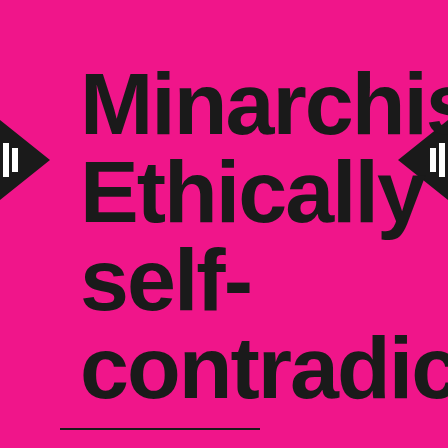[Figure (illustration): Podcast cover art with bright magenta/pink background. Two black arrow/chevron icons pointing inward on left and right sides. Large bold black text reads 'Minarchism Ethically self-contradict' (text is cropped). A short horizontal line appears at the bottom.]